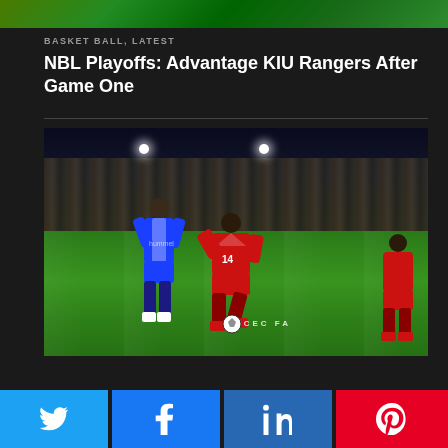[Figure (photo): Top banner showing sports players in green/yellow uniforms]
BASKET BALL, LATEST
NBL Playoffs: Advantage KIU Rangers After Game One
[Figure (photo): Night soccer match photo showing players in blue and red uniforms on a football pitch with crowd in background. Banner reading CEC FA visible. Two floodlights visible at top.]
Twitter share button
Facebook share button
LinkedIn share button
Pinterest share button